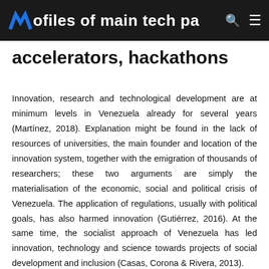ofiles of main tech parks, accelerators, hackathons
accelerators, hackathons
Innovation, research and technological development are at minimum levels in Venezuela already for several years (Martínez, 2018). Explanation might be found in the lack of resources of universities, the main founder and location of the innovation system, together with the emigration of thousands of researchers; these two arguments are simply the materialisation of the economic, social and political crisis of Venezuela. The application of regulations, usually with political goals, has also harmed innovation (Gutiérrez, 2016). At the same time, the socialist approach of Venezuela has led innovation, technology and science towards projects of social development and inclusion (Casas, Corona & Rivera, 2013).
The most common innovation efforts are made by universities and their technological parks. We can then affirm that